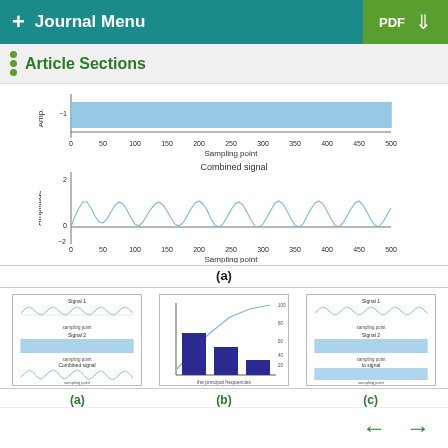+ Journal Menu | PDF ↓
Article Sections
[Figure (continuous-plot): Two stacked signal plots: top shows a high-frequency signal (Amp ~ -1) vs sampling point 0-500; bottom shows a combined signal (Amplitude ranging -2 to 2) vs sampling point 0-500, with label 'Combined signal' above it.]
(a)
[Figure (continuous-plot): Small thumbnail: three stacked signal plots showing Signal 1, Signal 2, and Combined signal waveforms vs sampling point.]
[Figure (bar-chart): Small thumbnail bar chart with three bars of decreasing height, blue/dark color, with a curve above.]
[Figure (continuous-plot): Small thumbnail: three stacked signal plots showing Signal 1, Signal 2, and to signal waveforms vs sampling point.]
(a)
(b)
(c)
← →